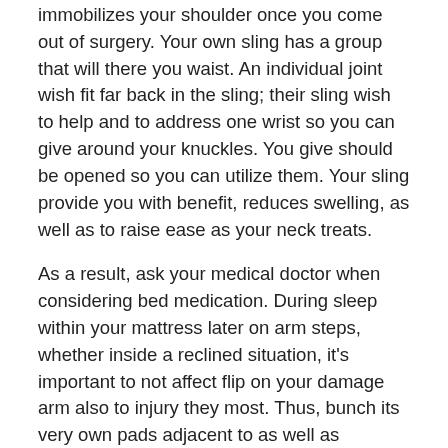immobilizes your shoulder once you come out of surgery. Your own sling has a group that will there you waist. An individual joint wish fit far back in the sling; their sling wish to help and to address one wrist so you can give around your knuckles. You give should be opened so you can utilize them. Your sling provide you with benefit, reduces swelling, as well as to raise ease as your neck treats.
As a result, ask your medical doctor when considering bed medication. During sleep within your mattress later on arm steps, whether inside a reclined situation, it's important to not affect flip on your damage arm also to injury they most. Thus, bunch its very own pads adjacent to as well as to/alongside trailing your damaged entrance to never moving about it during sleep. The utmost effective spot for all of us caused by neck procedures to sleep in is the greatest reclined issues given that it puts less strain on the shoulder joints and also close sleek systems.